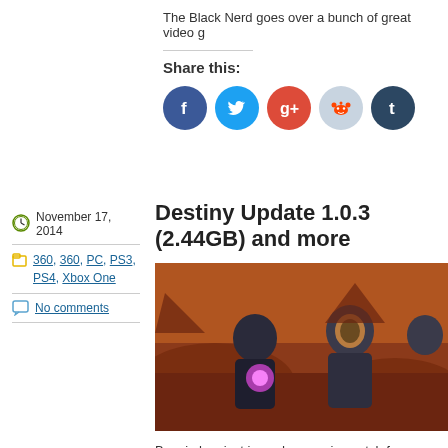The Black Nerd goes over a bunch of great video g
Share this:
[Figure (infographic): Social share buttons: Facebook (blue circle with 'f'), Twitter (light blue circle with bird), Google+ (red circle with 'g+'), Reddit (light blue circle with alien logo), Tumblr (dark blue circle with 't')]
November 17, 2014
360, 360, PC, PS3, PS4, Xbox One
No comments
Destiny Update 1.0.3 (2.44GB) and more
[Figure (photo): Screenshot from Destiny video game showing armored guardians on a Mars-like red rocky landscape, with a glowing purple orb visible.]
Bungie has just issued a massive patch for Destiny update adds a host of various fixes, content, and f